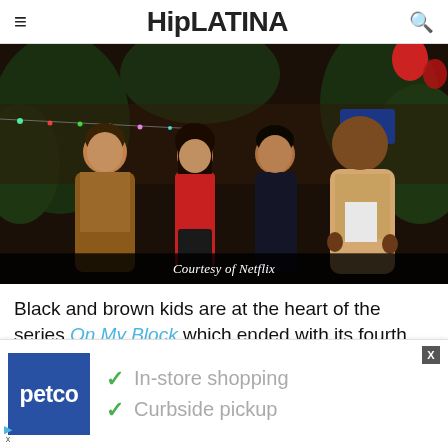HipLATINA
[Figure (photo): Four young actors standing together in an outdoor party setting with string lights and plants in the background. Photo credit: Courtesy of Netflix]
Courtesy of Netflix
Black and brown kids are at the heart of the series On My Block which ended with its fourth
[Figure (infographic): Petco advertisement showing logo and text: checkmark In-store shopping, checkmark Curbside pickup]